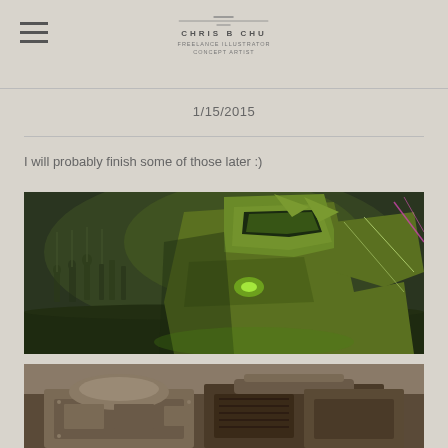CHRIS B CHU CONCEPT ARTIST
1/15/2015
I will probably finish some of those later :)
[Figure (illustration): Concept art showing a large armored sci-fi figure in green-yellow tones in the foreground, with smaller figures/soldiers in the background, dark atmospheric style]
[Figure (illustration): Concept art showing a mechanical or vehicle/robot structure in brownish tones, partially visible at bottom of page]